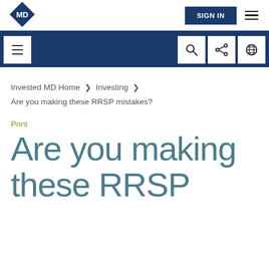[Figure (logo): MD diamond logo in blue with white MD text, top left navigation bar]
SIGN IN  ≡
≡  🔍  ⋮  🌐
Invested MD Home > Investing > Are you making these RRSP mistakes?
Print
Are you making these RRSP